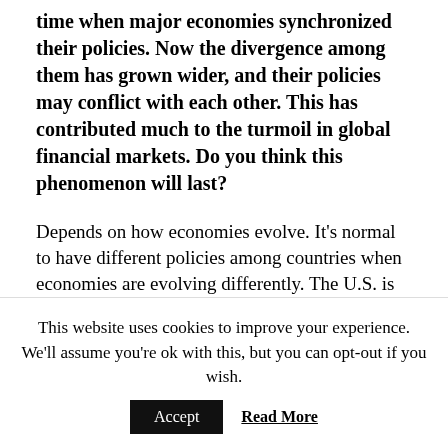time when major economies synchronized their policies. Now the divergence among them has grown wider, and their policies may conflict with each other. This has contributed much to the turmoil in global financial markets. Do you think this phenomenon will last?
Depends on how economies evolve. It’s normal to have different policies among countries when economies are evolving differently. The U.S. is growing more quickly than other advanced industrial economies, so it’s appropriate to have different policies. This is one of the reasons that we have flexible exchange rates, to allow some
This website uses cookies to improve your experience. We’ll assume you’re ok with this, but you can opt-out if you wish.